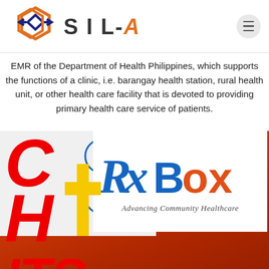[Figure (logo): SIL-Asia logo with hexagon shapes in orange and dark blue, followed by text 'SIL-Asia' and a hamburger menu button]
EMR of the Department of Health Philippines, which supports the functions of a clinic, i.e. barangay health station, rural health unit, or other health care facility that is devoted to providing primary health care service of patients.
[Figure (infographic): Composite image showing CHITS logo text in large red italic letters overlaid on circular CHITS emblems, alongside RxBox logo with 'Advancing Community Healthcare' tagline, with an orange/red textured background on the right portion]